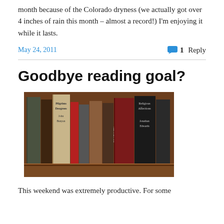month because of the Colorado dryness (we actually got over 4 inches of rain this month – almost a record!) I'm enjoying it while it lasts.
May 24, 2011   1 Reply
Goodbye reading goal?
[Figure (photo): A row of old books on a wooden shelf, spines visible with titles including Pilgrim's Progress by John Bunyan, Autobiography of George Fox, Religious Affections by Jonathan Edwards, and others.]
This weekend was extremely productive. For some